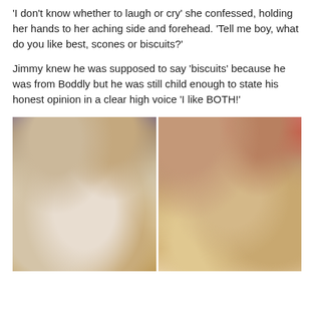'I don't know whether to laugh or cry' she confessed, holding her hands to her aching side and forehead.  'Tell me boy, what do you like best, scones or biscuits?'
Jimmy knew he was supposed to say 'biscuits' because he was from Boddly but he was still child enough to state his honest opinion in a clear high voice 'I like BOTH!'
[Figure (photo): Two side-by-side food photos showing scones and biscuits on decorative plates, one split open with butter and jam visible, close-up photography with warm tones.]